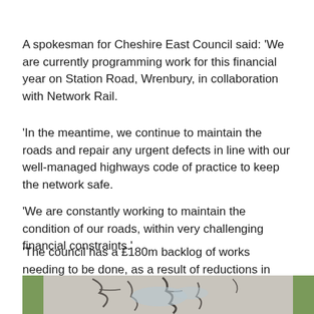A spokesman for Cheshire East Council said: 'We are currently programming work for this financial year on Station Road, Wrenbury, in collaboration with Network Rail.
'In the meantime, we continue to maintain the roads and repair any urgent defects in line with our well-managed highways code of practice to keep the network safe.
'We are constantly working to maintain the condition of our roads, within very challenging financial constraints.'
'The council has a £180m backlog of works needing to be done, as a result of reductions in government funding for road maintenance over the last decade.'
[Figure (photo): Photo of a damaged road surface showing cracks and wear, with grass visible on the sides]